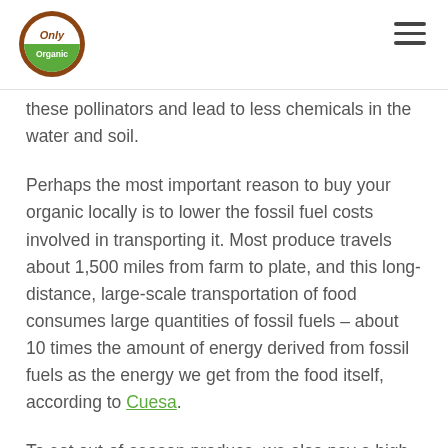Only Organic [logo] [hamburger menu]
these pollinators and lead to less chemicals in the water and soil.
Perhaps the most important reason to buy your organic locally is to lower the fossil fuel costs involved in transporting it. Most produce travels about 1,500 miles from farm to plate, and this long-distance, large-scale transportation of food consumes large quantities of fossil fuels – about 10 times the amount of energy derived from fossil fuels as the energy we get from the food itself, according to Cuesa.
To eat out-of-season produce, we also pay a high